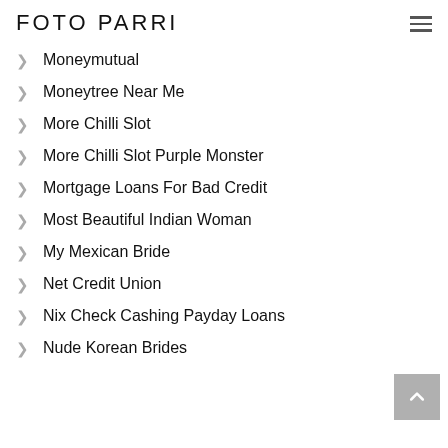FOTO PARRI
Moneymutual
Moneytree Near Me
More Chilli Slot
More Chilli Slot Purple Monster
Mortgage Loans For Bad Credit
Most Beautiful Indian Woman
My Mexican Bride
Net Credit Union
Nix Check Cashing Payday Loans
Nude Korean Brides